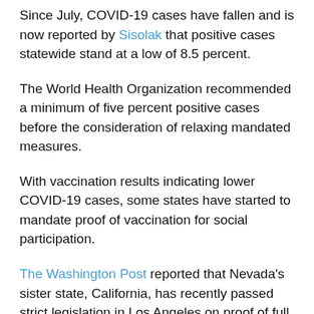Since July, COVID-19 cases have fallen and is now reported by Sisolak that positive cases statewide stand at a low of 8.5 percent.
The World Health Organization recommended a minimum of five percent positive cases before the consideration of relaxing mandated measures.
With vaccination results indicating lower COVID-19 cases, some states have started to mandate proof of vaccination for social participation.
The Washington Post reported that Nevada's sister state, California, has recently passed strict legislation in Los Angeles on proof of full vaccination for entry into restaurants, bars, gyms, nail salons and sporting events, starting Nov. 4.